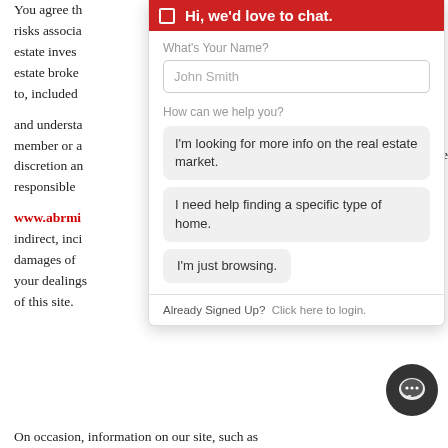You agree th... risks associa... estate inves... estate broke... to, included ... and understa... member or a... discretion an... responsible ... www.abrmi... indirect, inci... damages of ... your dealings ... of this site.
[Figure (screenshot): Chat widget overlay panel with header 'Hi, we'd love to chat!', a 'What's Your Name?' text input with placeholder 'John Smith', a 'How can we help you?' section with three clickable options: 'I'm looking for more info on the real estate market.', 'I need help finding a specific type of home.', 'I'm just browsing.', and a footer 'Already Signed Up? Click here to login.' A dark circular chat bubble icon appears at bottom right.]
On occasion, information on our site, such as